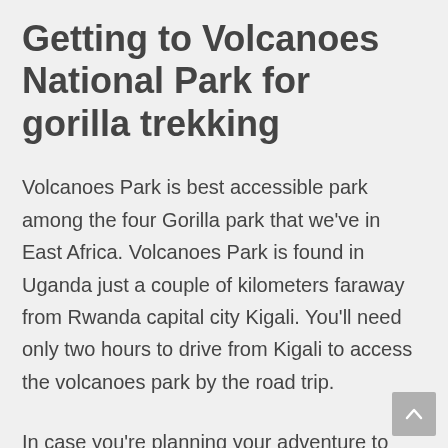Getting to Volcanoes National Park for gorilla trekking
Volcanoes Park is best accessible park among the four Gorilla park that we've in East Africa. Volcanoes Park is found in Uganda just a couple of kilometers faraway from Rwanda capital city Kigali. You'll need only two hours to drive from Kigali to access the volcanoes park by the road trip.
In case you're planning your adventure to Rwanda you'll got to get extra prepared and